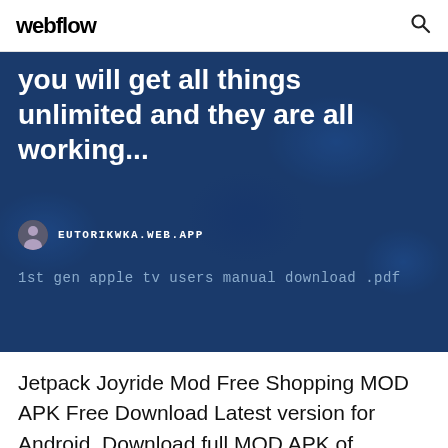webflow
you will get all things unlimited and they are all working...
EUTORIKWKA.WEB.APP
1st gen apple tv users manual download .pdf
Jetpack Joyride Mod Free Shopping MOD APK Free Download Latest version for Android. Download full MOD APK of Jetpack Joyride Free Shopping. PUBG Mobile is currently free to play, now you